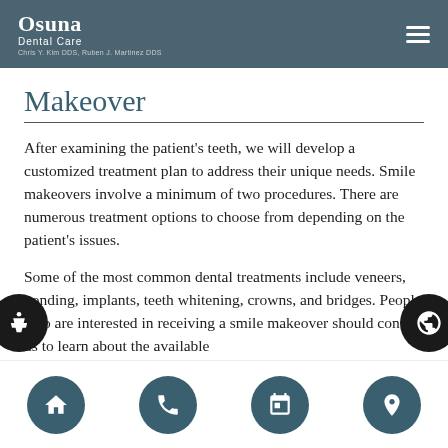Osuna Dental Care — Chris Y. Kim DDS, Ruben J. Martinez DDS
Makeover
After examining the patient's teeth, we will develop a customized treatment plan to address their unique needs. Smile makeovers involve a minimum of two procedures. There are numerous treatment options to choose from depending on the patient's issues.
Some of the most common dental treatments include veneers, bonding, implants, teeth whitening, crowns, and bridges. People who are interested in receiving a smile makeover should contact us to learn about the available
Navigation: Home, Phone, Calendar, Location